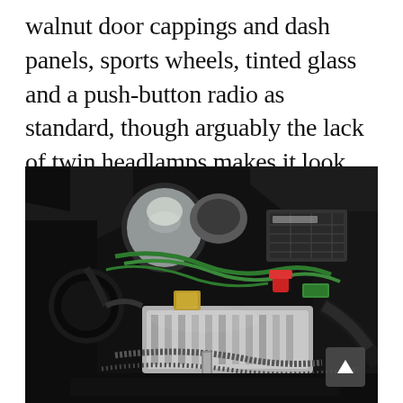walnut door cappings and dash panels, sports wheels, tinted glass and a push-button radio as standard, though arguably the lack of twin headlamps makes it look more basic from the front.
[Figure (photo): Close-up photograph of a vintage car engine bay showing a silver engine block, green wiring, red battery terminal, black hoses, and various mechanical components against a dark background. A navigation arrow button is visible in the bottom-right corner.]